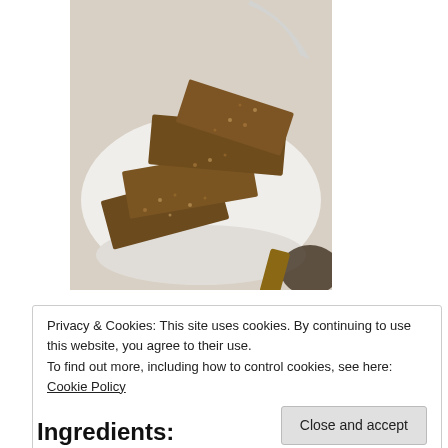[Figure (photo): A white plate with several rectangular granola/seed bars stacked on top of each other, on a white surface. The bars appear to have oats, seeds and nuts.]
Privacy & Cookies: This site uses cookies. By continuing to use this website, you agree to their use.
To find out more, including how to control cookies, see here: Cookie Policy
Close and accept
Ingredients: